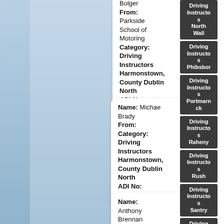Name: Bolger
From: Parkside School of Motoring
Category: Driving Instructors Harmonstown, County Dublin North
ADI No: F35321
Name: Michael Brady
From:
Category: Driving Instructors Harmonstown, County Dublin North
ADI No: F36661
Name: Anthony Brennan
Driving Instructors North Wall
Driving Instructors Phibsboro
Driving Instructors Portmarnock
Driving Instructors Raheny
Driving Instructors Rush
Driving Instructors Santry
Driving Instructors Skerries
Driving Instructors Stoneybatter
Driving Instructors Sutton